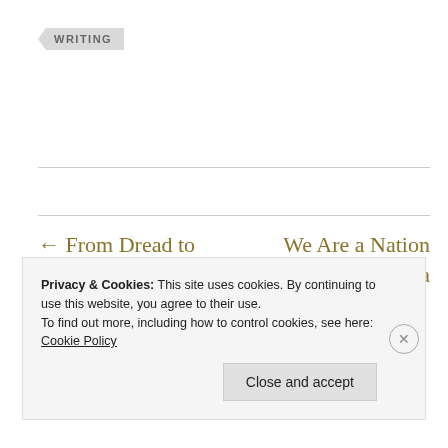WRITING
← From Dread to Hope: Making Peace With Father's Day
We Are a Nation Birthed From a Temper Tantrum →
Privacy & Cookies: This site uses cookies. By continuing to use this website, you agree to their use.
To find out more, including how to control cookies, see here: Cookie Policy
Close and accept